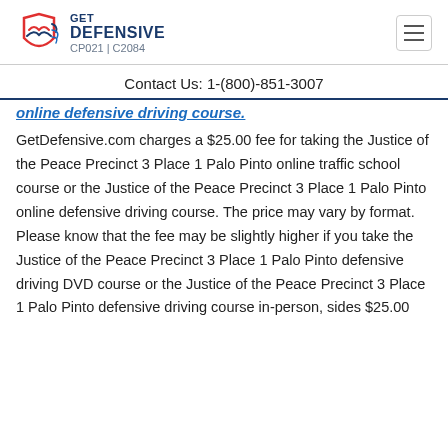GET DEFENSIVE CP021 | C2084
Contact Us: 1-(800)-851-3007
online defensive driving course.
GetDefensive.com charges a $25.00 fee for taking the Justice of the Peace Precinct 3 Place 1 Palo Pinto online traffic school course or the Justice of the Peace Precinct 3 Place 1 Palo Pinto online defensive driving course. The price may vary by format.  Please know that the fee may be slightly higher if you take the Justice of the Peace Precinct 3 Place 1 Palo Pinto defensive driving DVD course or the Justice of the Peace Precinct 3 Place 1 Palo Pinto defensive driving course in-person, sides $25.00